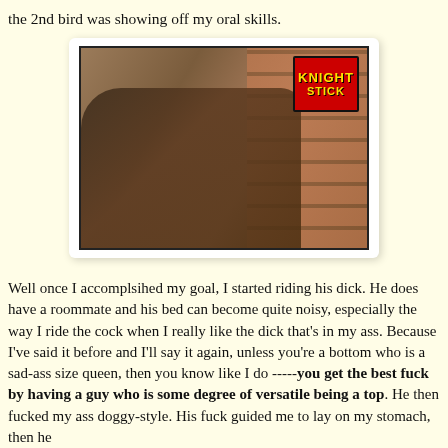the 2nd bird was showing off my oral skills.
[Figure (photo): Adult content photo with Knight Stick logo watermark in upper right corner, red background with yellow text.]
Well once I accomplsihed my goal, I started riding his dick. He does have a roommate and his bed can become quite noisy, especially the way I ride the cock when I really like the dick that's in my ass. Because I've said it before and I'll say it again, unless you're a bottom who is a sad-ass size queen, then you know like I do -----you get the best fuck by having a guy who is some degree of versatile being a top. He then fucked my ass doggy-style. His fuck guided me to lay on my stomach, then he